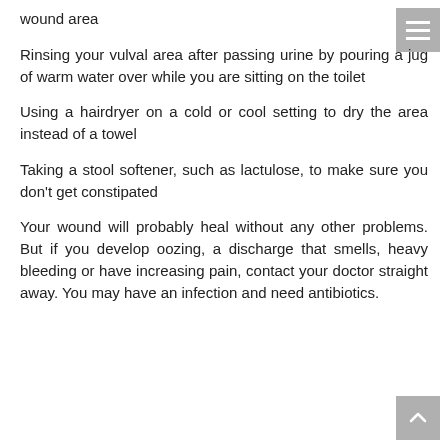wound area
Rinsing your vulval area after passing urine by pouring a jug of warm water over while you are sitting on the toilet
Using a hairdryer on a cold or cool setting to dry the area instead of a towel
Taking a stool softener, such as lactulose, to make sure you don't get constipated
Your wound will probably heal without any other problems. But if you develop oozing, a discharge that smells, heavy bleeding or have increasing pain, contact your doctor straight away. You may have an infection and need antibiotics.